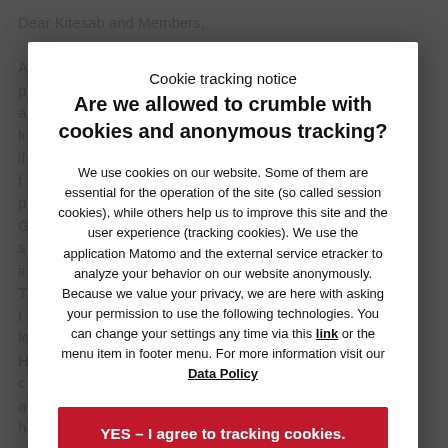Dear Kitesab and Members,
[Figure (screenshot): Cookie tracking notice modal dialog overlay on top of a blurred document page. The modal contains a title 'Cookie tracking notice', bold heading 'Are we allowed to crumble with cookies and anonymous tracking?', explanatory text about cookies and tracking, a red 'YES – I agree to tracking cookies.' button, and a white 'No thanks – I agree to session cookies' button with red border.]
Cookie tracking notice
Are we allowed to crumble with cookies and anonymous tracking?
We use cookies on our website. Some of them are essential for the operation of the site (so called session cookies), while others help us to improve this site and the user experience (tracking cookies). We use the application Matomo and the external service etracker to analyze your behavior on our website anonymously. Because we value your privacy, we are here with asking your permission to use the following technologies. You can change your settings any time via this link or the menu item in footer menu. For more information visit our Data Policy
YES – I agree to tracking cookies.
No thanks – I agree to session cookies